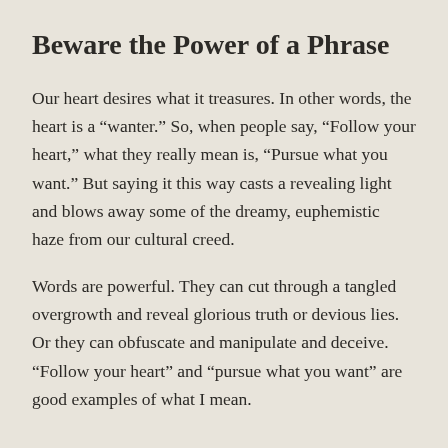Beware the Power of a Phrase
Our heart desires what it treasures. In other words, the heart is a “wanter.” So, when people say, “Follow your heart,” what they really mean is, “Pursue what you want.” But saying it this way casts a revealing light and blows away some of the dreamy, euphemistic haze from our cultural creed.
Words are powerful. They can cut through a tangled overgrowth and reveal glorious truth or devious lies. Or they can obfuscate and manipulate and deceive. “Follow your heart” and “pursue what you want” are good examples of what I mean.